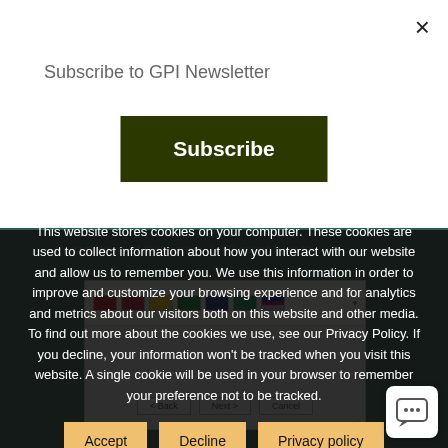Subscribe to GPI Newsletter
[Figure (screenshot): Software installation dialog showing country/language flag icons (Chile, China, Colombia, Ethiopia, Kazakhstan, Congo, Australia) with Back, Next, Cancel buttons]
This website stores cookies on your computer. These cookies are used to collect information about how you interact with our website and allow us to remember you. We use this information in order to improve and customize your browsing experience and for analytics and metrics about our visitors both on this website and other media. To find out more about the cookies we use, see our Privacy Policy. If you decline, your information won't be tracked when you visit this website. A single cookie will be used in your browser to remember your preference not to be tracked.
Accept
Decline
Privacy policy